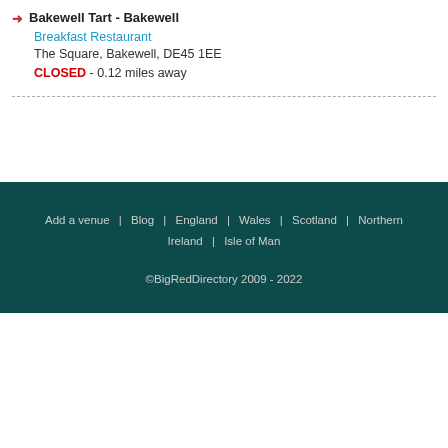Bakewell Tart - Bakewell
Breakfast Restaurant
The Square, Bakewell, DE45 1EE
CLOSED - 0.12 miles away
Add a venue | Blog | England | Wales | Scotland | Northern Ireland | Isle of Man
©BigRedDirectory 2009 - 2022